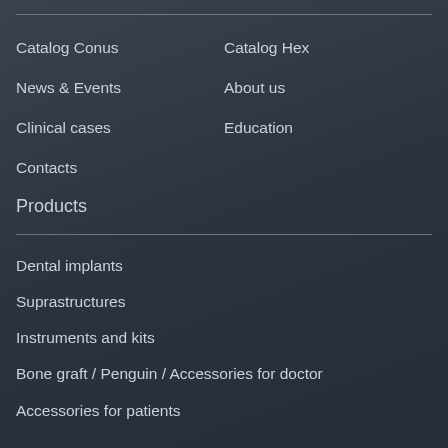Catalog Conus
Catalog Hex
News & Events
About us
Clinical cases
Education
Contacts
Products
Dental implants
Suprastructures
Instruments and kits
Bone graft / Penguin / Accessories for doctor
Accessories for patients